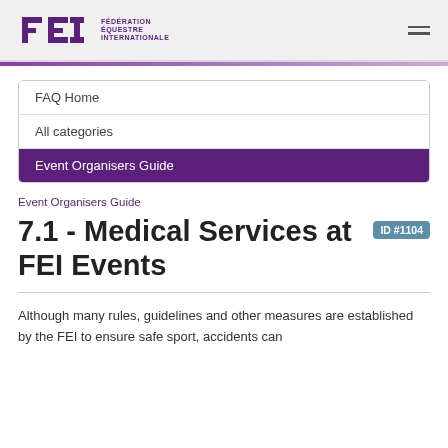FEI — FÉDÉRATION ÉQUESTRE INTERNATIONALE
FAQ Home
All categories
Event Organisers Guide
Event Organisers Guide
7.1 - Medical Services at FEI Events  ID #1104
Although many rules, guidelines and other measures are established by the FEI to ensure safe sport, accidents can